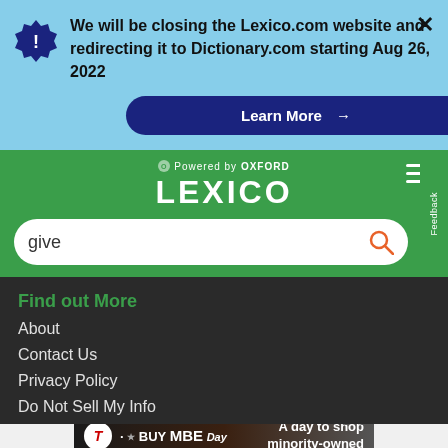We will be closing the Lexico.com website and redirecting it to Dictionary.com starting Aug 26, 2022
Learn More →
[Figure (logo): Lexico powered by Oxford logo on green background with hamburger menu]
give
Find out More
About
Contact Us
Privacy Policy
Do Not Sell My Info
[Figure (infographic): T-Mobile Buy MBE Day advertisement banner - A day to shop minority-owned]